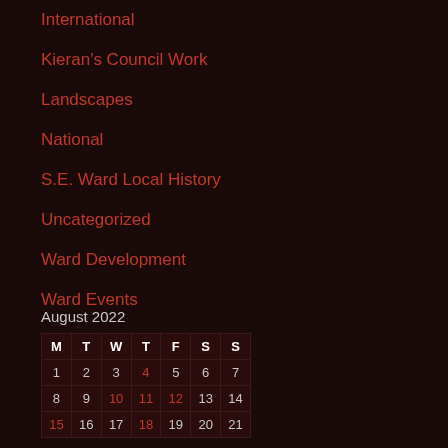International
Kieran's Council Work
Landscapes
National
S.E. Ward Local History
Uncategorized
Ward Development
Ward Events
August 2022
| M | T | W | T | F | S | S |
| --- | --- | --- | --- | --- | --- | --- |
| 1 | 2 | 3 | 4 | 5 | 6 | 7 |
| 8 | 9 | 10 | 11 | 12 | 13 | 14 |
| 15 | 16 | 17 | 18 | 19 | 20 | 21 |